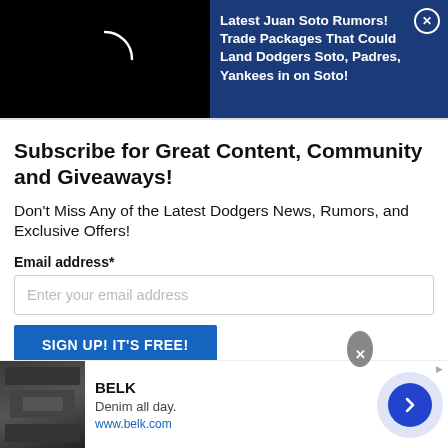[Figure (screenshot): Black video player area with a loading spinner arc (partial white circle arc) on dark background]
[Figure (screenshot): Blue advertisement banner with text: Latest Juan Soto Rumors! Trade Packages That Could Land Dodgers Soto, Padres, Yankees in on Soto! with a close (X) button]
Subscribe for Great Content, Community and Giveaways!
Don't Miss Any of the Latest Dodgers News, Rumors, and Exclusive Offers!
Email address*
Enter your email address
SIGN UP! IT'S FREE!
[Figure (screenshot): Bottom advertisement banner for BELK showing 'Denim all day.' with www.belk.com and a blue arrow button]